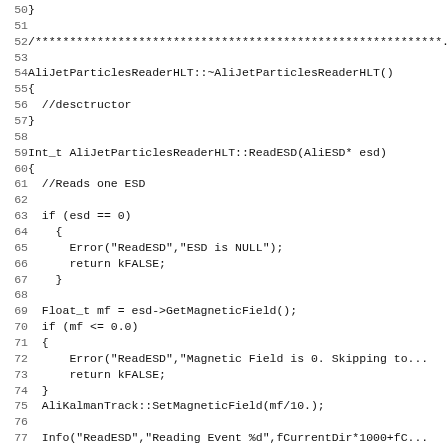Source code listing: AliJetParticlesReaderHLT destructor and ReadESD method, lines 50-82